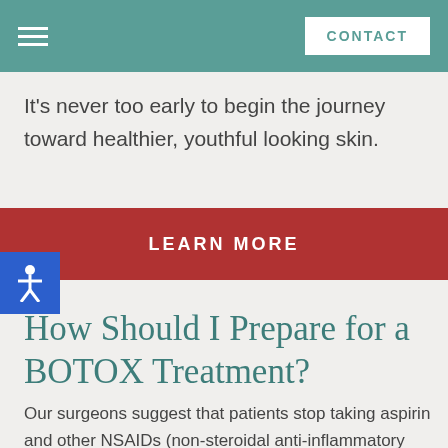CONTACT
It's never too early to begin the journey toward healthier, youthful looking skin.
LEARN MORE
How Should I Prepare for a BOTOX Treatment?
Our surgeons suggest that patients stop taking aspirin and other NSAIDs (non-steroidal anti-inflammatory drugs) a week prior to injections. Additionally, taking vitamin E and